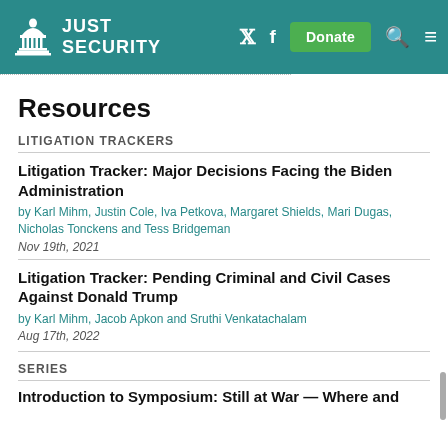[Figure (logo): Just Security website header with logo (Capitol building icon + JUST SECURITY text), social media icons (Twitter, Facebook), Donate button, search and menu icons on teal background]
Resources
LITIGATION TRACKERS
Litigation Tracker: Major Decisions Facing the Biden Administration
by Karl Mihm, Justin Cole, Iva Petkova, Margaret Shields, Mari Dugas, Nicholas Tonckens and Tess Bridgeman
Nov 19th, 2021
Litigation Tracker: Pending Criminal and Civil Cases Against Donald Trump
by Karl Mihm, Jacob Apkon and Sruthi Venkatachalam
Aug 17th, 2022
SERIES
Introduction to Symposium: Still at War — Where and